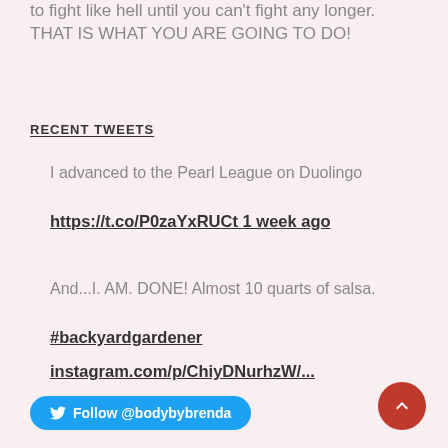to fight like hell until you can't fight any longer. THAT IS WHAT YOU ARE GOING TO DO!
RECENT TWEETS
I advanced to the Pearl League on Duolingo
https://t.co/P0zaYxRUCt 1 week ago
And...I. AM. DONE! Almost 10 quarts of salsa.
#backyardgardener
instagram.com/p/ChiyDNurhzW/...
1 week ago
[Figure (other): Twitter Follow @bodybybrenda button and back-to-top arrow button]